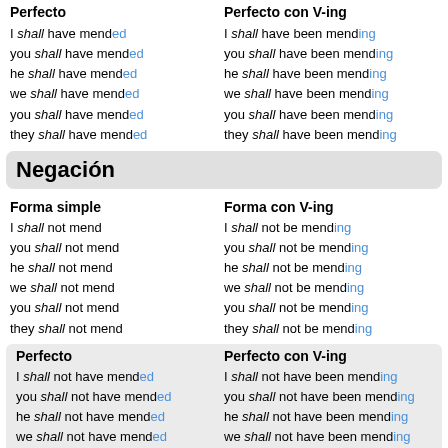Perfecto
Perfecto con V-ing
I shall have mended
you shall have mended
he shall have mended
we shall have mended
you shall have mended
they shall have mended
I shall have been mending
you shall have been mending
he shall have been mending
we shall have been mending
you shall have been mending
they shall have been mending
Negación
Forma simple
Forma con V-ing
I shall not mend
you shall not mend
he shall not mend
we shall not mend
you shall not mend
they shall not mend
I shall not be mending
you shall not be mending
he shall not be mending
we shall not be mending
you shall not be mending
they shall not be mending
Perfecto
Perfecto con V-ing
I shall not have mended
you shall not have mended
he shall not have mended
we shall not have mended
you shall not have mended
they shall not have mended
I shall not have been mending
you shall not have been mending
he shall not have been mending
we shall not have been mending
you shall not have been mending
they shall not have been mending
Forma interrogativa